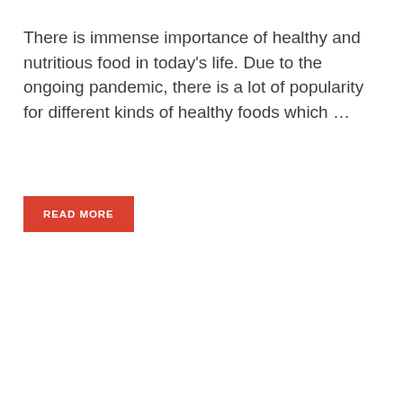There is immense importance of healthy and nutritious food in today's life. Due to the ongoing pandemic, there is a lot of popularity for different kinds of healthy foods which …
READ MORE